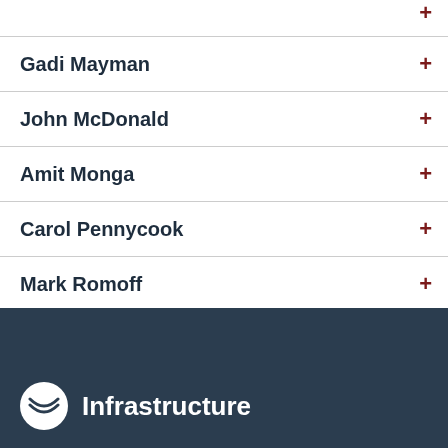Gadi Mayman
John McDonald
Amit Monga
Carol Pennycook
Mark Romoff
David Shiner
Jeff Wesley
Infrastructure